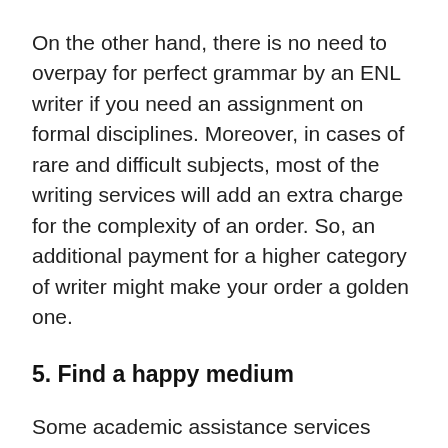On the other hand, there is no need to overpay for perfect grammar by an ENL writer if you need an assignment on formal disciplines. Moreover, in cases of rare and difficult subjects, most of the writing services will add an extra charge for the complexity of an order. So, an additional payment for a higher category of writer might make your order a golden one.
5. Find a happy medium
Some academic assistance services offer more than two categories of experts. As a rule, in addition to basic ESL writers and a premium ENL category, there are advanced specialists which have vast experience in the field, great feedback